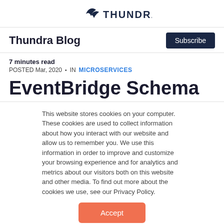THUNDRA
Thundra Blog
7 minutes read
POSTED Mar, 2020 • IN MICROSERVICES
EventBridge Schema
This website stores cookies on your computer. These cookies are used to collect information about how you interact with our website and allow us to remember you. We use this information in order to improve and customize your browsing experience and for analytics and metrics about our visitors both on this website and other media. To find out more about the cookies we use, see our Privacy Policy.
Accept